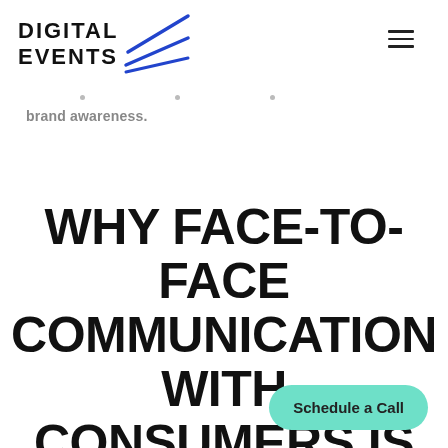[Figure (logo): Digital Events logo with stylized diagonal blue lines/stripes next to the text]
brand awareness.
WHY FACE-TO-FACE COMMUNICATION WITH CONSUMERS IS IMPORTANT AT EXPERIENTIAL
Schedule a Call